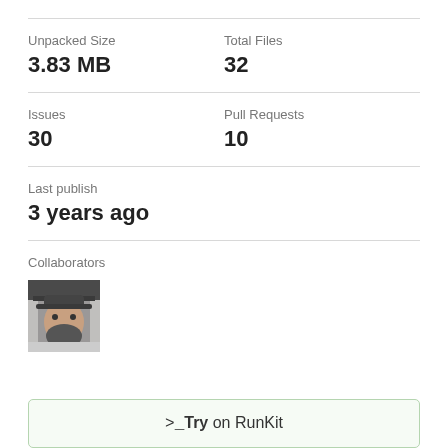Unpacked Size
3.83 MB
Total Files
32
Issues
30
Pull Requests
10
Last publish
3 years ago
Collaborators
[Figure (photo): Avatar photo of a male collaborator wearing a cap, with beard, gray background]
>_ Try on RunKit